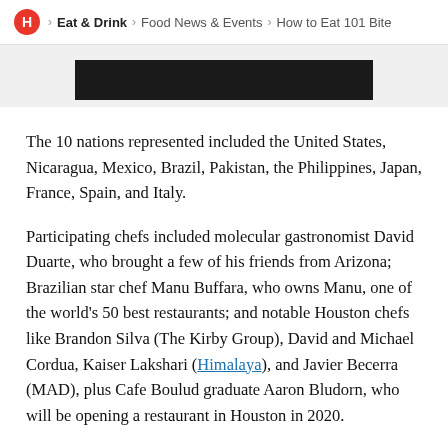H > Eat & Drink > Food News & Events > How to Eat 101 Bite
[Figure (photo): Dark/black rectangular image placeholder at top of article]
The 10 nations represented included the United States, Nicaragua, Mexico, Brazil, Pakistan, the Philippines, Japan, France, Spain, and Italy.
Participating chefs included molecular gastronomist David Duarte, who brought a few of his friends from Arizona; Brazilian star chef Manu Buffara, who owns Manu, one of the world’s 50 best restaurants; and notable Houston chefs like Brandon Silva (The Kirby Group), David and Michael Cordua, Kaiser Lakshari (Himalaya), and Javier Becerra (MAD), plus Cafe Boulud graduate Aaron Bludorn, who will be opening a restaurant in Houston in 2020.